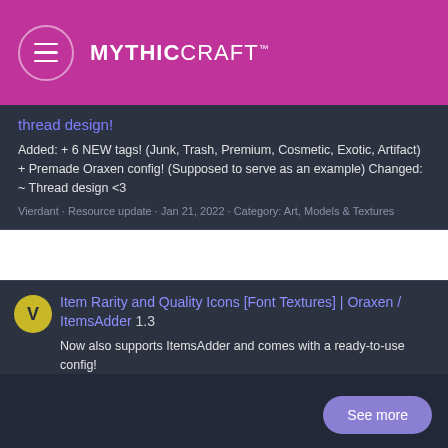MYTHICCRAFT™
thread design!
Added: + 6 NEW tags! (Junk, Trash, Premium, Cosmetic, Exotic, Artifact) + Premade Oraxen config! (Supposed to serve as an example) Changed: ~ Thread design <3
Vierdant · Resource update · Jan 21, 2022 · Category: Art, Models & Textures
Item Rarity and Quality Icons [Font Textures] | Oraxen / ItemsAdder 1.3
Now also supports ItemsAdder and comes with a ready-to-use config!
Vierdant · Resource · Jan 14, 2022 · font minecraft texture · Category: Art, Models & Textures
See more